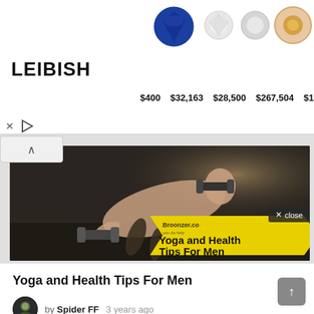[Figure (other): Leibish jewelry advertisement banner showing various gemstones (sapphire, diamonds, pink heart diamond, yellow diamonds) with prices: $400, $32,163, $28,500, $267,504, $19,533]
[Figure (photo): A muscular man doing dumbbell exercises on the floor, shirtless, with a yellow arrow banner overlay reading 'Yoga and Health Tips For Men' and 'Broonzer.co' branding]
Yoga and Health Tips For Men
by Spider FF   3 years ago